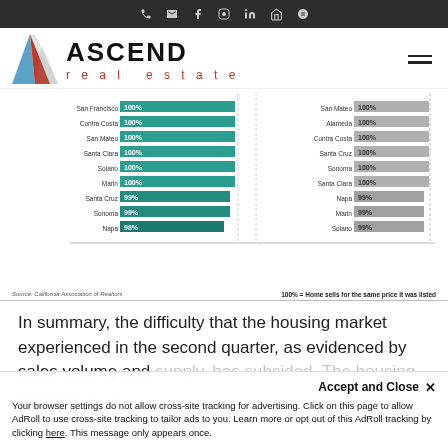Navigation icons: phone, email, facebook, instagram, linkedin, zillow, yelp
[Figure (logo): Ascend Real Estate logo with triangular A icon in blue and red, and hamburger menu icon]
[Figure (grouped-bar-chart): Sale Price to List Price Ratio by County]
Source: California Association of Realtors     100% = Home sells for the same price it was listed
In summary, the difficulty that the housing market experienced in the second quarter, as evidenced by sales volume and supply, has subsided. The housing market has sh...
Accept and Close ×
Your browser settings do not allow cross-site tracking for advertising. Click on this page to allow AdRoll to use cross-site tracking to tailor ads to you. Learn more or opt out of this AdRoll tracking by clicking here. This message only appears once.
asset classes. Whether you are buying or selling a home it s...